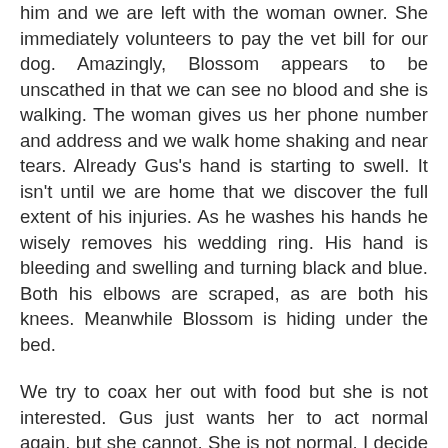him and we are left with the woman owner. She immediately volunteers to pay the vet bill for our dog. Amazingly, Blossom appears to be unscathed in that we can see no blood and she is walking. The woman gives us her phone number and address and we walk home shaking and near tears. Already Gus's hand is starting to swell. It isn't until we are home that we discover the full extent of his injuries. As he washes his hands he wisely removes his wedding ring. His hand is bleeding and swelling and turning black and blue. Both his elbows are scraped, as are both his knees. Meanwhile Blossom is hiding under the bed.
We try to coax her out with food but she is not interested. Gus just wants her to act normal again, but she cannot. She is not normal. I decide to give her a bath to wash off the fecal matter from when the dog first attacked her and she evacuated her bowels. But it hurts her too much and I quickly give that up as a bad idea. It takes us all quite awhile to unwind and go to bed. It is after 1:00 a.m. when we finally fall asleep. Gus sleeps through the night, but I can hear Blossom's pitiful whimpers from underneath the bed. I get up at 3:30 to try to comfort her but she crawls back up onto her